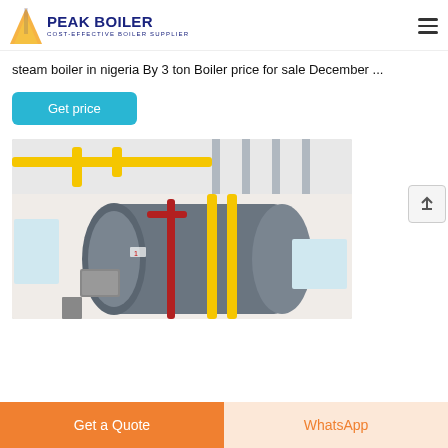PEAK BOILER - COST-EFFECTIVE BOILER SUPPLIER
steam boiler in nigeria By 3 ton Boiler price for sale December ...
Get price
[Figure (photo): Industrial gas/oil fired steam boiler installed in a facility in Nigeria, with yellow and red piping, grey cylindrical boiler body, and industrial ceiling structure visible in background.]
Get a Quote
WhatsApp